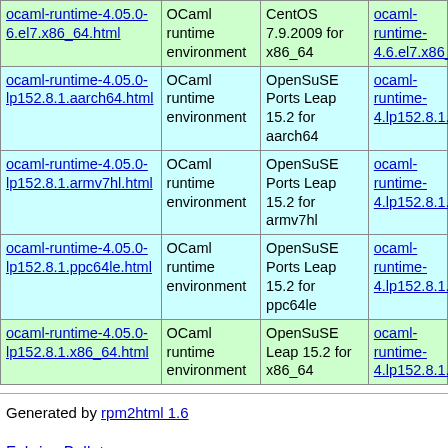| Name | Description | Distribution | Download |
| --- | --- | --- | --- |
| ocaml-runtime-4.05.0-6.el7.x86_64.html | OCaml runtime environment | CentOS 7.9.2009 for x86_64 | ocaml-runtime-4...6.el7.x86_64.rpm |
| ocaml-runtime-4.05.0-lp152.8.1.aarch64.html | OCaml runtime environment | OpenSuSE Ports Leap 15.2 for aarch64 | ocaml-runtime-4...lp152.8.1.aarch64 |
| ocaml-runtime-4.05.0-lp152.8.1.armv7hl.html | OCaml runtime environment | OpenSuSE Ports Leap 15.2 for armv7hl | ocaml-runtime-4...lp152.8.1.armv7h |
| ocaml-runtime-4.05.0-lp152.8.1.ppc64le.html | OCaml runtime environment | OpenSuSE Ports Leap 15.2 for ppc64le | ocaml-runtime-4...lp152.8.1.ppc64le |
| ocaml-runtime-4.05.0-lp152.8.1.x86_64.html | OCaml runtime environment | OpenSuSE Leap 15.2 for x86_64 | ocaml-runtime-4...lp152.8.1.x86_64 |
Generated by rpm2html 1.6
Fabrice Bellet